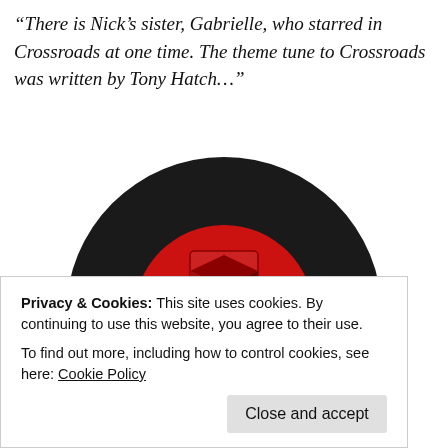"There is Nick's sister, Gabrielle, who starred in Crossroads at one time. The theme tune to Crossroads was written by Tony Hatch..."
[Figure (photo): A vinyl record (Pye Records label) showing the top half. The label is red with a black Pye Records logo (cube with P and E) in the center. Small text around the lower part of the label reads: 'ALL RIGHTS OF THE MANUFACTURERS AND OWNER OF THE RECORDED WORK RESERVED UNAUTHORISED PUBLIC PERFORMANCE, BROADCASTING AND COPYING PROHIBITED. MADE IN ENGLAND'. The record itself is black.]
Privacy & Cookies: This site uses cookies. By continuing to use this website, you agree to their use.
To find out more, including how to control cookies, see here: Cookie Policy